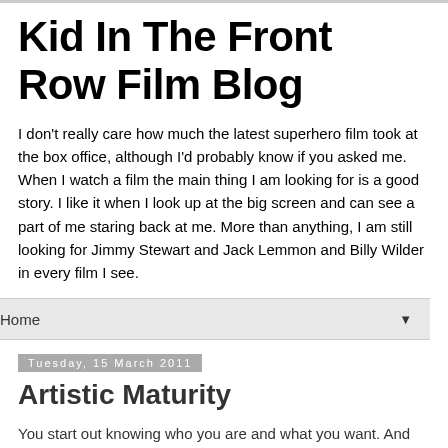Kid In The Front Row Film Blog
I don't really care how much the latest superhero film took at the box office, although I'd probably know if you asked me. When I watch a film the main thing I am looking for is a good story. I like it when I look up at the big screen and can see a part of me staring back at me. More than anything, I am still looking for Jimmy Stewart and Jack Lemmon and Billy Wilder in every film I see.
Home
Tuesday, 15 March 2011
Artistic Maturity
You start out knowing who you are and what you want. And then you realise it's more complicated than that so you start